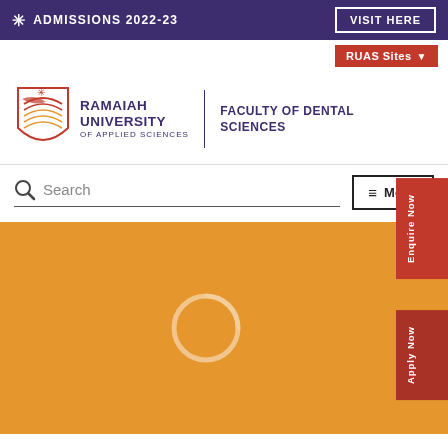ADMISSIONS 2022-23
VISIT HERE
RUAS Sites
[Figure (logo): Ramaiah University of Applied Sciences logo with stylized bird/shield in red and orange]
RAMAIAH UNIVERSITY OF APPLIED SCIENCES | FACULTY OF DENTAL SCIENCES
Search
Menu
[Figure (photo): Orange/golden hero background area with a loading spinner icon in the center]
Enquire Now
Apply Now